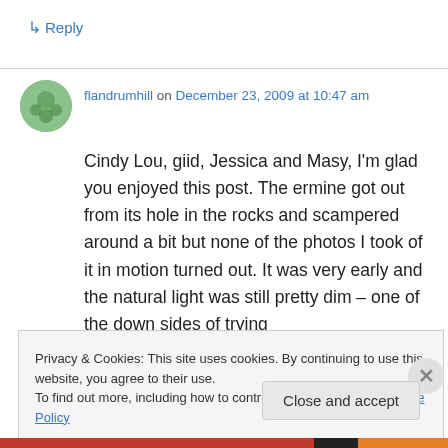↳ Reply
flandrumhill on December 23, 2009 at 10:47 am
Cindy Lou, giid, Jessica and Masy, I'm glad you enjoyed this post. The ermine got out from its hole in the rocks and scampered around a bit but none of the photos I took of it in motion turned out. It was very early and the natural light was still pretty dim – one of the down sides of trying
Privacy & Cookies: This site uses cookies. By continuing to use this website, you agree to their use.
To find out more, including how to control cookies, see here: Cookie Policy
Close and accept